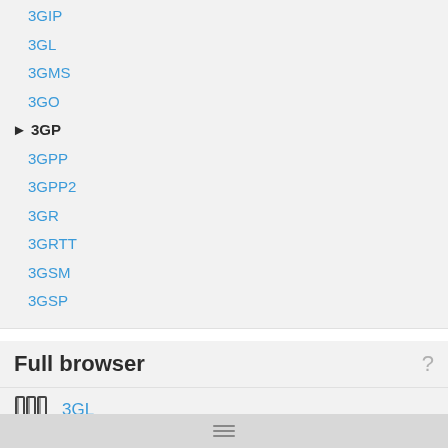3GIP
3GL
3GMS
3GO
3GP (active)
3GPP
3GPP2
3GR
3GRTT
3GSM
3GSP
Full browser
3GL
3GMS
3GO
3GP
3gphone